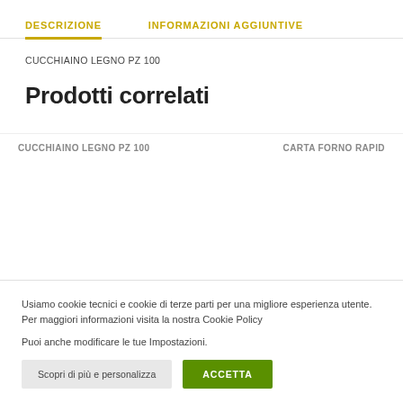DESCRIZIONE | INFORMAZIONI AGGIUNTIVE
CUCCHIAINO LEGNO PZ 100
Prodotti correlati
CUCCHIAINO LEGNO PZ 100   CARTA FORNO RAPID
Usiamo cookie tecnici e cookie di terze parti per una migliore esperienza utente. Per maggiori informazioni visita la nostra Cookie Policy
Puoi anche modificare le tue Impostazioni.
Scopri di più e personalizza  ACCETTA